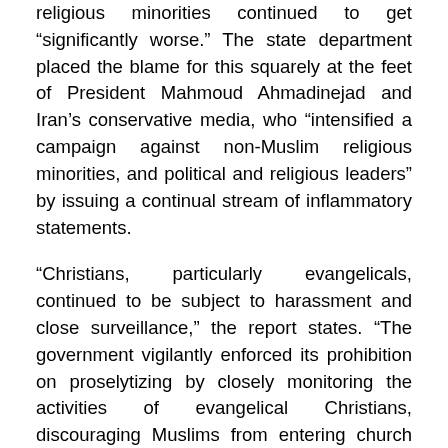religious minorities continued to get "significantly worse." The state department placed the blame for this squarely at the feet of President Mahmoud Ahmadinejad and Iran's conservative media, who "intensified a campaign against non-Muslim religious minorities, and political and religious leaders" by issuing a continual stream of inflammatory statements.
"Christians, particularly evangelicals, continued to be subject to harassment and close surveillance," the report states. "The government vigilantly enforced its prohibition on proselytizing by closely monitoring the activities of evangelical Christians, discouraging Muslims from entering church premises, closing churches, and arresting Christian converts."
Evangelical Christians were required to carry church